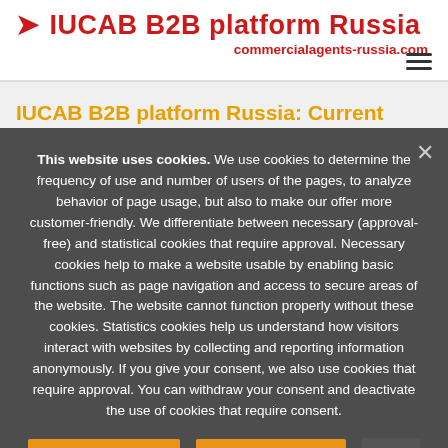IUCAB B2B platform Russia — commercialagents-russia.com
IUCAB B2B platform Russia: Current
This website uses cookies. We use cookies to determine the frequency of use and number of users of the pages, to analyze behavior of page usage, but also to make our offer more customer-friendly. We differentiate between necessary (approval-free) and statistical cookies that require approval. Necessary cookies help to make a website usable by enabling basic functions such as page navigation and access to secure areas of the website. The website cannot function properly without these cookies. Statistics cookies help us understand how visitors interact with websites by collecting and reporting information anonymously. If you give your consent, we also use cookies that require approval. You can withdraw your consent and deactivate the use of cookies that require consent.
I accept cookies
I refuse cookies